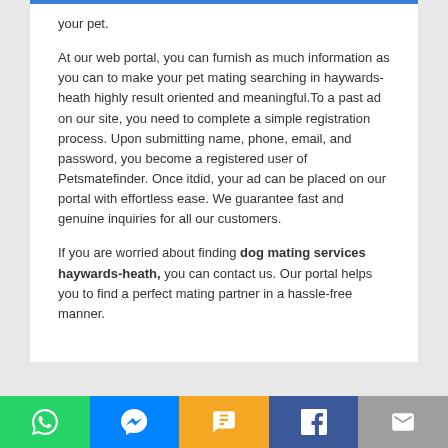your pet.
At our web portal, you can furnish as much information as you can to make your pet mating searching in haywards-heath highly result oriented and meaningful.To a past ad on our site, you need to complete a simple registration process. Upon submitting name, phone, email, and password, you become a registered user of Petsmatefinder. Once itdid, your ad can be placed on our portal with effortless ease. We guarantee fast and genuine inquiries for all our customers.
If you are worried about finding dog mating services haywards-heath, you can contact us. Our portal helps you to find a perfect mating partner in a hassle-free manner.
[Figure (infographic): Bottom share bar with five buttons: WhatsApp (green), Messenger (blue), SMS (yellow/orange), Facebook (dark blue), Email (grey), each with a white icon.]